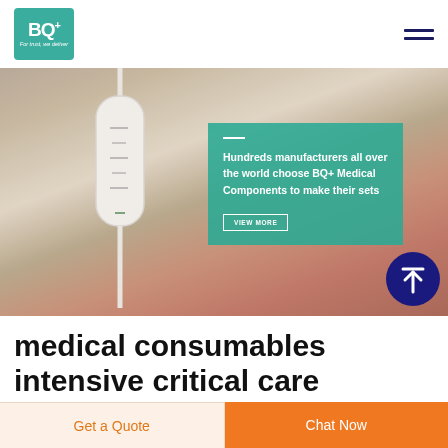[Figure (logo): BQ+ Medical logo - teal/green square with BQ+ text and tagline 'For trust, we deliver']
[Figure (photo): Medical drip chamber / IV set component photo with teal overlay card reading: Hundreds manufacturers all over the world choose BQ+ Medical Components to make their sets, with VIEW MORE button. Dark blue circle arrow-up icon in bottom right.]
medical consumables intensive critical care disposable blood pressure transducer for sale in
Get a Quote
Chat Now